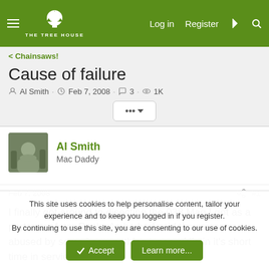THE TREE HOUSE — Log in · Register
< Chainsaws!
Cause of failure
Al Smith · Feb 7, 2008 · 3 · 1K
Al Smith
Mac Daddy
Feb 7, 2008  #1
I finally got around to disecting the 038 Mag I got as a parts saw from Rocky.As he had said the saw was abused by some know nothing types while in it's short time in service.
This site uses cookies to help personalise content, tailor your experience and to keep you logged in if you register.
By continuing to use this site, you are consenting to our use of cookies.